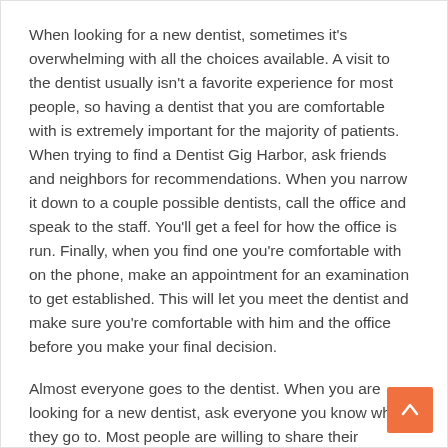When looking for a new dentist, sometimes it's overwhelming with all the choices available. A visit to the dentist usually isn't a favorite experience for most people, so having a dentist that you are comfortable with is extremely important for the majority of patients. When trying to find a Dentist Gig Harbor, ask friends and neighbors for recommendations. When you narrow it down to a couple possible dentists, call the office and speak to the staff. You'll get a feel for how the office is run. Finally, when you find one you're comfortable with on the phone, make an appointment for an examination to get established. This will let you meet the dentist and make sure you're comfortable with him and the office before you make your final decision.
Almost everyone goes to the dentist. When you are looking for a new dentist, ask everyone you know who they go to. Most people are willing to share their